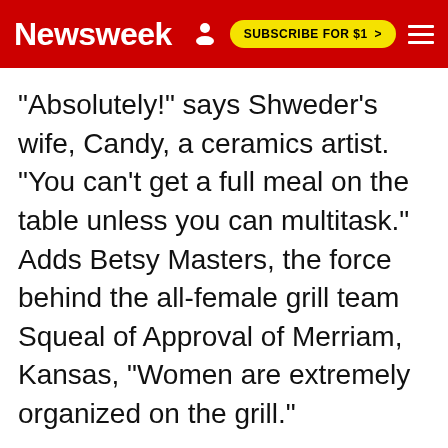Newsweek | SUBSCRIBE FOR $1 >
"Absolutely!" says Shweder's wife, Candy, a ceramics artist. "You can't get a full meal on the table unless you can multitask." Adds Betsy Masters, the force behind the all-female grill team Squeal of Approval of Merriam, Kansas, "Women are extremely organized on the grill."